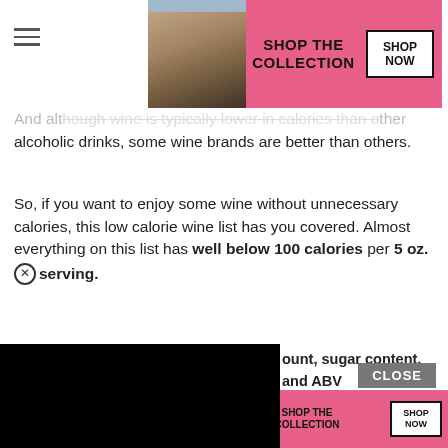[Figure (screenshot): Victoria's Secret advertisement banner (top) with model photo, VS logo, 'SHOP THE COLLECTION' text, and 'SHOP NOW' button on pink background]
And although wine is typically lower in calories than other alcoholic drinks, some wine brands are better than others.
So, if you want to enjoy some wine without unnecessary calories, this low calorie wine list has you covered. Almost everything on this list has well below 100 calories per 5 oz. serving.
[Figure (screenshot): Black video/media player overlay covering left portion of page]
...ount, sugar content, and ABV ...ave to do any guesswork when
So without further ado, let's dive into this list of low calorie wine brands!
[Figure (screenshot): Victoria's Secret advertisement banner (bottom) with model photo, VS logo, 'SHOP THE COLLECTION' text, and 'SHOP NOW' button on pink background]
Don't M